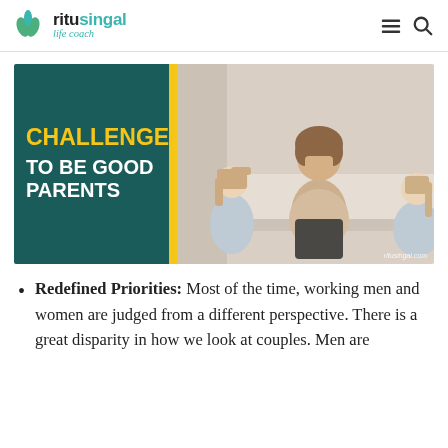ritusingal life coach
[Figure (photo): Blog post header image showing a stressed mother sitting between two young girls who appear to be arguing. Left side has a dark teal panel with yellow and white bold text reading 'CHALLENGE TO BE GOOD PARENTS'. A yellow vertical bar separates the text from the photo. Watermark reads 'ritusingal.com'.]
Redefined Priorities: Most of the time, working men and women are judged from a different perspective. There is a great disparity in how we look at couples. Men are